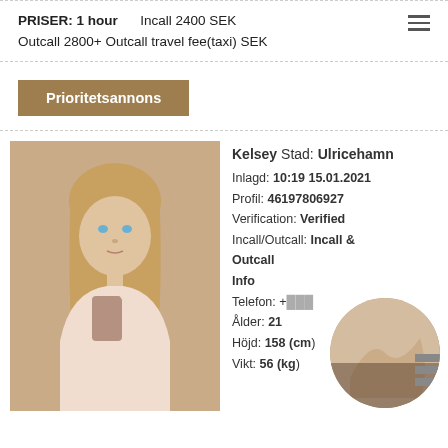PRISER: 1 hour   Incall 2400 SEK
Outcall 2800+ Outcall travel fee(taxi) SEK
Prioritetsannons
Kelsey Stad: Ulricehamn
Inlagd: 10:19 15.01.2021
Profil: 46197806927
Verification: Verified
Incall/Outcall: Incall & Outcall
Info
Telefon: +...
Ålder: 21
Höjd: 158 (cm)
Vikt: 56 (kg)
[Figure (photo): Portrait photo of a young blonde woman drinking from a cup]
[Figure (photo): Circular thumbnail of a person]